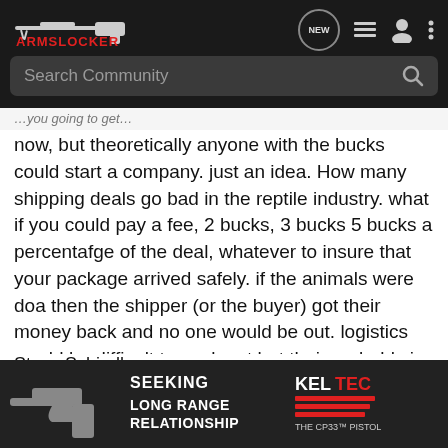ArmsLocker — NEW | list | user | menu icons | Search Community
now, but theoretically anyone with the bucks could start a company. just an idea. How many shipping deals go bad in the reptile industry. what if you could pay a fee, 2 bucks, 3 bucks 5 bucks a percentafge of the deal, whatever to insure that your package arrived safely. if the animals were doa then the shipper (or the buyer) got their money back and no one would be out. logistics would be difficult to work out but their probably is money to be made by insuring reptile shipments. my luck though the first claim would be a half a dozen het for piebald balls and I'd go broke before I could even cash my first premium check.
Steve Schindler
[Figure (advertisement): Kel-Tec advertisement: SEEKING LONG RANGE RELATIONSHIP — THE CP33 PISTOL, with image of a pistol]